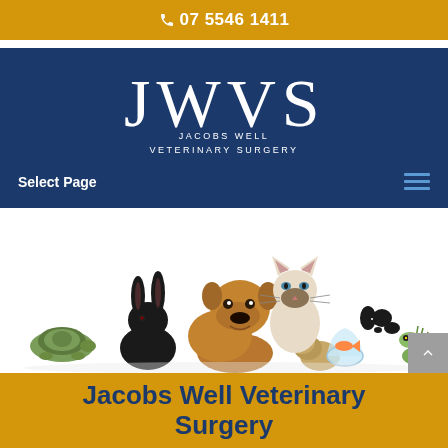07 5546 1411
[Figure (logo): JWVS Jacobs Well Veterinary Surgery logo — large white serif letters JWVS with subtitle text JACOBS WELL VETERINARY SURGERY on dark navy background]
Select Page
[Figure (photo): Group photo of various pets on white background: tortoise, black rabbit, bulldog, guinea pig, Siamese cat, small dog (black and white), lizard/iguana, and fish in bowl]
Jacobs Well Veterinary Surgery